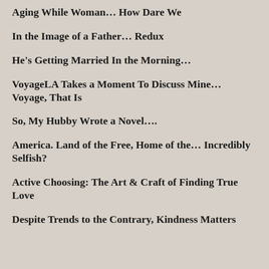Aging While Woman… How Dare We
In the Image of a Father… Redux
He's Getting Married In the Morning…
VoyageLA Takes a Moment To Discuss Mine… Voyage, That Is
So, My Hubby Wrote a Novel….
America. Land of the Free, Home of the… Incredibly Selfish?
Active Choosing: The Art & Craft of Finding True Love
Despite Trends to the Contrary, Kindness Matters